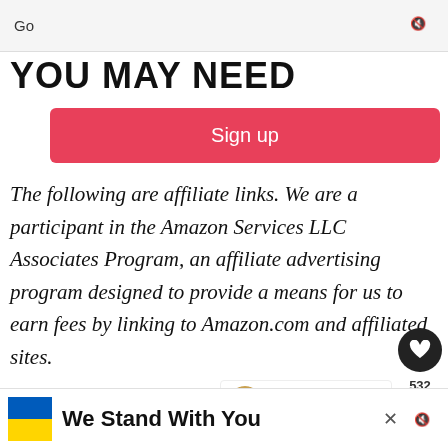Go
YOU MAY NEED
Sign up
The following are affiliate links. We are a participant in the Amazon Services LLC Associates Program, an affiliate advertising program designed to provide a means for us to earn fees by linking to Amazon.com and affiliated sites.
Thanks so much for being a part of You Can Li...
WHAT'S NEXT → 21 Perfect Pie Recipes For...
We Stand With You